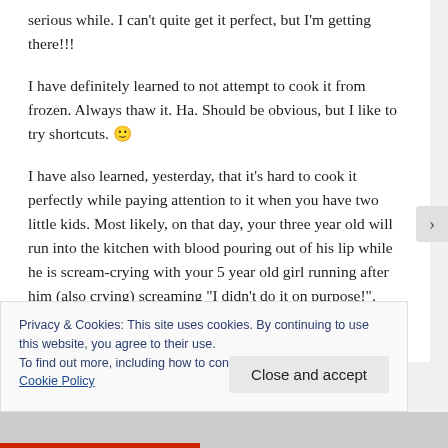serious while. I can't quite get it perfect, but I'm getting there!!!
I have definitely learned to not attempt to cook it from frozen. Always thaw it. Ha. Should be obvious, but I like to try shortcuts. 🙂
I have also learned, yesterday, that it's hard to cook it perfectly while paying attention to it when you have two little kids. Most likely, on that day, your three year old will run into the kitchen with blood pouring out of his lip while he is scream-crying with your 5 year old girl running after him (also crying) screaming "I didn't do it on purpose!". Yes, that
Privacy & Cookies: This site uses cookies. By continuing to use this website, you agree to their use.
To find out more, including how to control cookies, see here: Cookie Policy
Close and accept